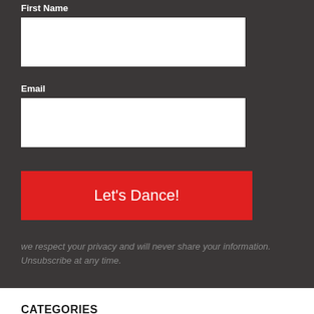First Name
[Figure (other): Empty white input field for First Name]
Email
[Figure (other): Empty white input field for Email]
Let's Dance!
we respect your privacy and will never share your information. Unsubscribe at any time.
CATEGORIES
All Posts
Ballroom Basics
Ballroom on TV